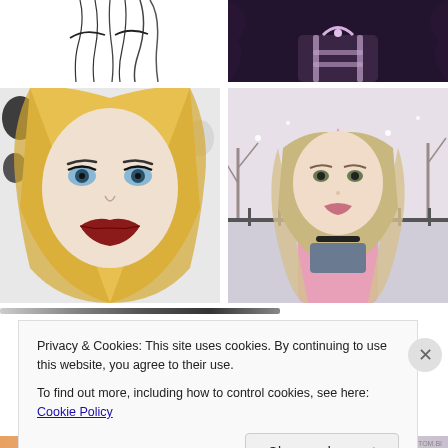[Figure (illustration): Sketch/line drawing of a face with hair strands visible at top left corner]
[Figure (photo): 3D virtual avatar wearing dark outfit with decorative harness, dark fluffy background]
[Figure (illustration): Digital illustration of a blonde female avatar with blue eyes and dark red lips, black and white patterned background]
[Figure (photo): 3D virtual avatar with blonde wavy hair wearing pink coat, winter outdoor scene with lights and bare trees]
Privacy & Cookies: This site uses cookies. By continuing to use this website, you agree to their use.
To find out more, including how to control cookies, see here: Cookie Policy
Close and accept